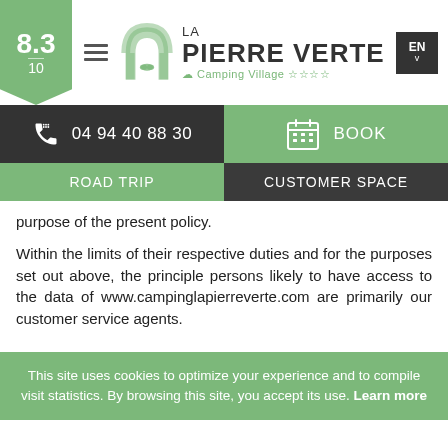[Figure (logo): La Pierre Verte Camping Village logo with arch icon, rating badge 8.3/10, hamburger menu, and EN language selector]
04 94 40 88 30  BOOK
ROAD TRIP  CUSTOMER SPACE
purpose of the present policy.
Within the limits of their respective duties and for the purposes set out above, the principle persons likely to have access to the data of www.campinglapierreverte.com are primarily our customer service agents.
This site uses cookies to optimize your experience and to compile visit statistics. By browsing this site, you accept its use. Learn more